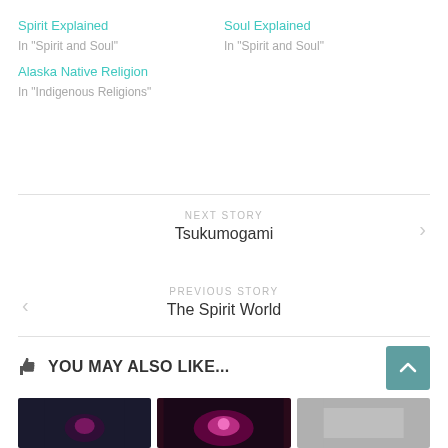Spirit Explained
In "Spirit and Soul"
Soul Explained
In "Spirit and Soul"
Alaska Native Religion
In "Indigenous Religions"
NEXT STORY
Tsukumogami
PREVIOUS STORY
The Spirit World
YOU MAY ALSO LIKE...